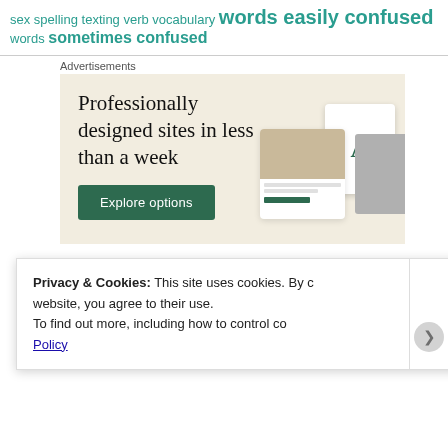sex spelling texting verb vocabulary words easily confused words sometimes confused
Advertisements
[Figure (illustration): Advertisement for professionally designed websites: beige background, headline 'Professionally designed sites in less than a week', green 'Explore options' button, with decorative website/app screenshots on the right.]
Privacy & Cookies: This site uses cookies. By continuing to use this website, you agree to their use. To find out more, including how to control cookies, see here: Cookie Policy
Close and accept